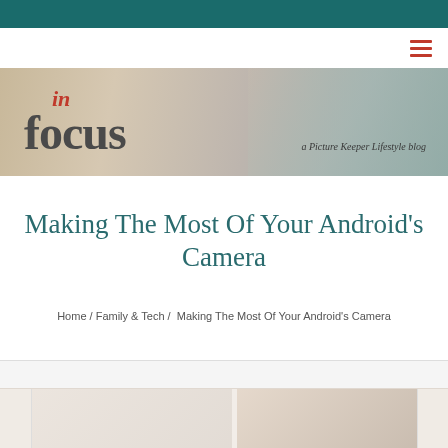[Figure (logo): In Focus - a Picture Keeper Lifestyle blog logo on blurred kitchen background]
Making The Most Of Your Android’s Camera
Home / Family & Tech /  Making The Most Of Your Android’s Camera
[Figure (photo): Partial view of article preview image at the bottom of the page]